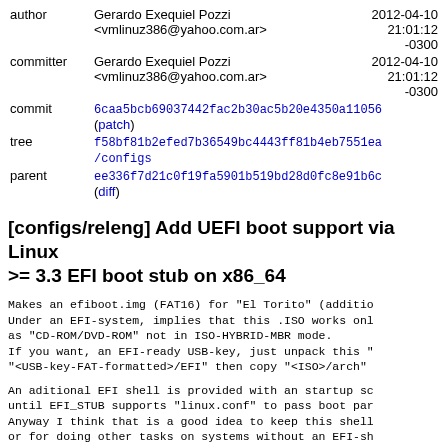| Field | Value | Date |
| --- | --- | --- |
| author | Gerardo Exequiel Pozzi
<vmlinuz386@yahoo.com.ar> | 2012-04-10
21:01:12
-0300 |
| committer | Gerardo Exequiel Pozzi
<vmlinuz386@yahoo.com.ar> | 2012-04-10
21:01:12
-0300 |
| commit | 6caa5bcb69037442fac2b30ac5b20e4350a11056
(patch) |  |
| tree | f58bf81b2efed7b36549bc4443ff81b4eb7551ea
/configs |  |
| parent | ee336f7d21c0f19fa5901b519bd28d0fc8e91b6c
(diff) |  |
[configs/releng] Add UEFI boot support via Linux >= 3.3 EFI boot stub on x86_64
Makes an efiboot.img (FAT16) for "El Torito" (additio
Under an EFI-system, implies that this .ISO works onl
as "CD-ROM/DVD-ROM" not in ISO-HYBRID-MBR mode.
If you want, an EFI-ready USB-key, just unpack this "
"<USB-key-FAT-formatted>/EFI" then copy "<ISO>/arch"
An aditional EFI shell is provided with an startup sc
until EFI_STUB supports "linux.conf" to pass boot par
Anyway I think that is a good idea to keep this shell
or for doing other tasks on systems without an EFI-sh
RFCv1: Initial efiboot.img build with vmlinuz.efi (Li
       and archiso.img (initramfs).
RFCv2: Use an startup.nsh with EFI_Shell_2.0 (genera